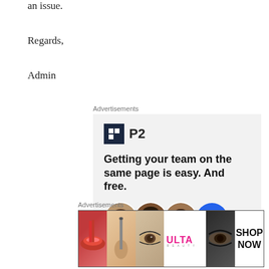an issue.
Regards,
Admin
Advertisements
[Figure (infographic): P2 advertisement: logo with dark square icon and 'P2' text, tagline 'Getting your team on the same page is easy. And free.' with three avatar photos and a blue plus button.]
Advertisements
[Figure (infographic): Ulta beauty advertisement banner with makeup photos (lips, brush, eye), Ulta logo, eye makeup photo, and 'SHOP NOW' text.]